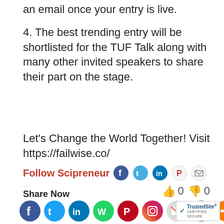an email once your entry is live.
4. The best trending entry will be shortlisted for the TUF Talk along with many other invited speakers to share their part on the stage.
Let's Change the World Together! Visit https://failwise.co/
Follow Scipreneur [social icons: Facebook, Twitter, LinkedIn, Pinterest, Email]
👍 0 👎 0
Share Now
[Figure (infographic): Social sharing icons row: Facebook, Twitter, LinkedIn, WhatsApp, Pinterest, Instagram, Gmail, Print, Share]
[Figure (logo): TrustedSite Certified Secure badge]